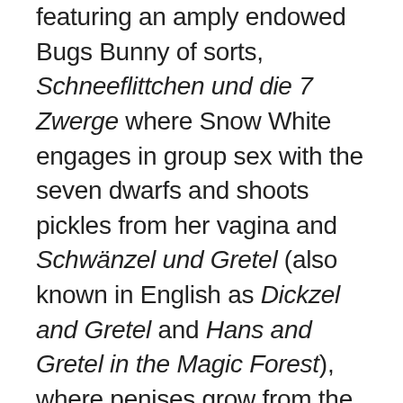featuring an amply endowed Bugs Bunny of sorts, Schneeflittchen und die 7 Zwerge where Snow White engages in group sex with the seven dwarfs and shoots pickles from her vagina and Schwänzel und Gretel (also known in English as Dickzel and Gretel and Hans and Gretel in the Magic Forest), where penises grow from the ground and people, squirrels, owls and pigs all engage in continuous orgies (Capino, 2004, p. 57). The films' pornographic fantasylands are ones of excessive, even compulsive sexuality where ejaculate oozes from unsuspected outlets and lubricates the narrative action. All these cartoons aim to titillate through their sexual explicitness but much more centrally to entertain through their surprising twists and unequivocally smutty forms of humour